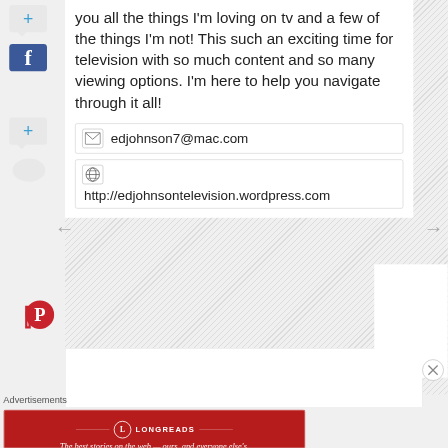you all the things I'm loving on tv and a few of the things I'm not! This such an exciting time for television with so much content and so many viewing options. I'm here to help you navigate through it all!
edjohnson7@mac.com
http://edjohnsontelevision.wordpress.com
Advertisements
[Figure (other): Longreads advertisement banner: red background with Longreads logo and tagline 'The best stories on the web — ours, and everyone else's.']